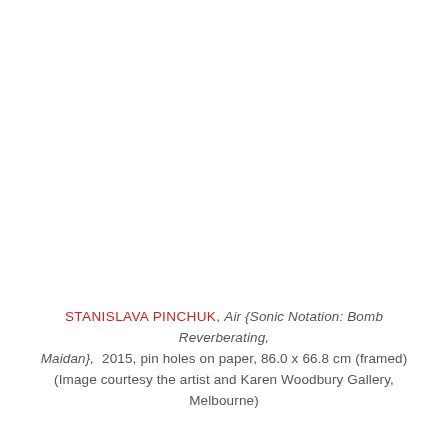STANISLAVA PINCHUK, Air {Sonic Notation: Bomb Reverberating, Maidan},  2015, pin holes on paper, 86.0 x 66.8 cm (framed) (Image courtesy the artist and Karen Woodbury Gallery, Melbourne)